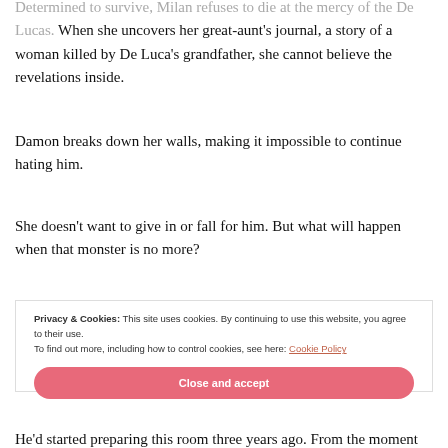Determined to survive, Milan refuses to die at the mercy of the De Lucas. When she uncovers her great-aunt's journal, a story of a woman killed by De Luca's grandfather, she cannot believe the revelations inside.
Damon breaks down her walls, making it impossible to continue hating him.
She doesn't want to give in or fall for him. But what will happen when that monster is no more?
Privacy & Cookies: This site uses cookies. By continuing to use this website, you agree to their use.
To find out more, including how to control cookies, see here: Cookie Policy
[Close and accept]
He'd started preparing this room three years ago. From the moment